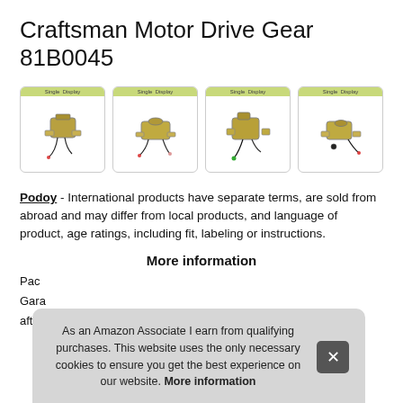Craftsman Motor Drive Gear 81B0045
[Figure (photo): Four product images of Craftsman Motor Drive Gear 81B0045, each with a green 'Single Display' label bar at the top showing different angles of the gear/solenoid motor component.]
Podoy - International products have separate terms, are sold from abroad and may differ from local products, and language of product, age ratings, including fit, labeling or instructions.
More information
Pac
Gara
afte
As an Amazon Associate I earn from qualifying purchases. This website uses the only necessary cookies to ensure you get the best experience on our website. More information